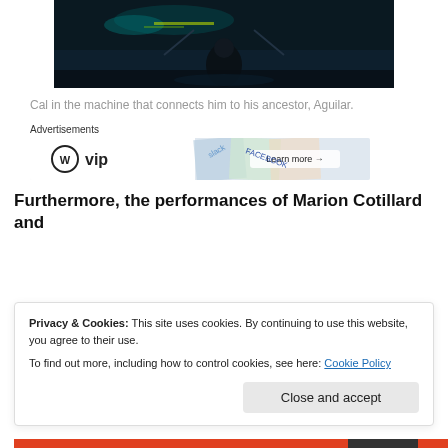[Figure (screenshot): Dark scene from Assassin's Creed movie showing a figure in a machine, with teal/blue lighting and a cityscape in the background.]
Cal in the machine that connects him to his ancestor, Aguilar.
[Figure (other): Advertisements banner showing WordPress VIP logo and social media icons (Slack, Facebook) with 'Learn more →' button]
Furthermore, the performances of Marion Cotillard and
Privacy & Cookies: This site uses cookies. By continuing to use this website, you agree to their use.
To find out more, including how to control cookies, see here: Cookie Policy